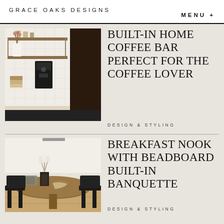GRACE OAKS DESIGNS
MENU +
[Figure (photo): Interior photo of a built-in home coffee bar with open wood shelving, white subway tile backsplash, coffee maker, white vase with dried florals, books, and dark wood cabinet panel]
BUILT-IN HOME COFFEE BAR PERFECT FOR THE COFFEE LOVER
DESIGN & STYLING
[Figure (photo): Interior photo of a breakfast nook with a round wood table, black modern chairs, decorative vase with white pampas grass, and woven texture napkins on hardwood floor]
BREAKFAST NOOK WITH BEADBOARD BUILT-IN BANQUETTE
DESIGN & STYLING